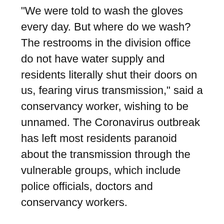“We were told to wash the gloves every day. But where do we wash? The restrooms in the division office do not have water supply and residents literally shut their doors on us, fearing virus transmission,” said a conservancy worker, wishing to be unnamed. The Coronavirus outbreak has left most residents paranoid about the transmission through the vulnerable groups, which include police officials, doctors and conservancy workers.
The protective gear for conservancy workers (masks and gloves) is also available only to those working in the city, workers in the suburbs do not have them.  A senior Corporation official admitted to the shortage of stock and the delay in acquiring the new safety gear. Considering the situation, volunteers across the city are willing to help out the conservancy workers.
“Zonal officers should reach out to the organisations and be transparent about such deficiencies. With